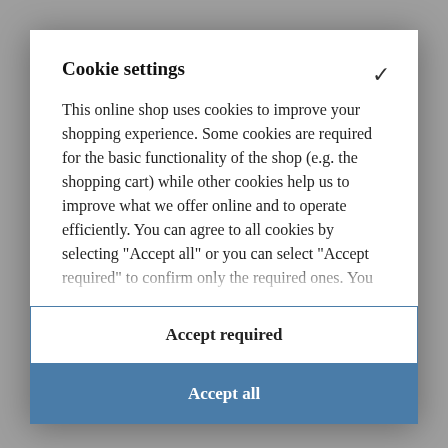Cookie settings
This online shop uses cookies to improve your shopping experience. Some cookies are required for the basic functionality of the shop (e.g. the shopping cart) while other cookies help us to improve what we offer online and to operate efficiently. You can agree to all cookies by selecting "Accept all" or you can select "Accept required" to confirm only the required ones. You
S
E c M sustained low-end frequencies. Our Export shells are 6
Accept required
Accept all